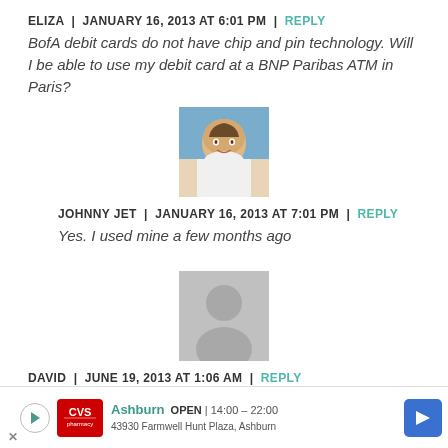ELIZA | JANUARY 16, 2013 AT 6:01 PM | REPLY
BofA debit cards do not have chip and pin technology. Will I be able to use my debit card at a BNP Paribas ATM in Paris?
[Figure (photo): Profile photo of Johnny Jet, a smiling man outdoors]
JOHNNY JET | JANUARY 16, 2013 AT 7:01 PM | REPLY
Yes. I used mine a few months ago
[Figure (photo): Generic grey silhouette placeholder avatar]
DAVID | JUNE 19, 2013 AT 1:06 AM | REPLY
As d... Barc...
[Figure (infographic): CVS Pharmacy ad banner: Ashburn OPEN 14:00-22:00, 43930 Farmwell Hunt Plaza, Ashburn with navigation arrow]